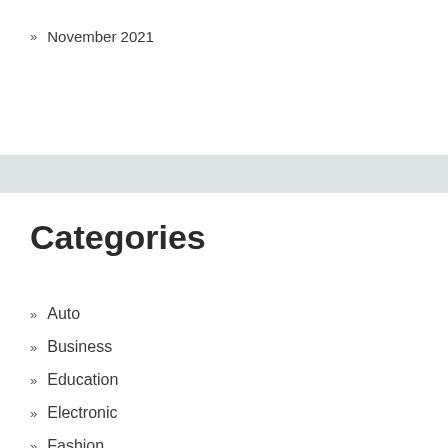» November 2021
Categories
» Auto
» Business
» Education
» Electronic
» Fashion
» Food
» Health